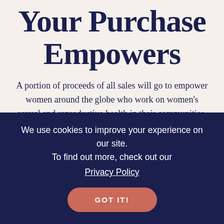Your Purchase Empowers
A portion of proceeds of all sales will go to empower women around the globe who work on women's sexual and reproductive health in their communities. We will also teach life and business skills to help build sustainable women-led
We use cookies to improve your experience on our site. To find out more, check out our Privacy Policy
GOT IT!